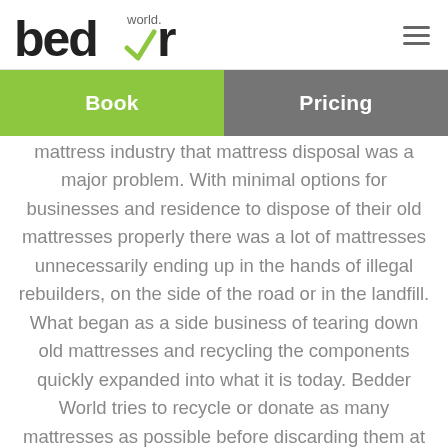bedder world. [logo with hamburger menu]
Book | Pricing
mattress industry that mattress disposal was a major problem. With minimal options for businesses and residence to dispose of their old mattresses properly there was a lot of mattresses unnecessarily ending up in the hands of illegal rebuilders, on the side of the road or in the landfill. What began as a side business of tearing down old mattresses and recycling the components quickly expanded into what it is today. Bedder World tries to recycle or donate as many mattresses as possible before discarding them at the...